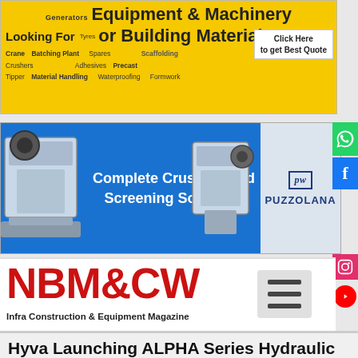[Figure (infographic): Yellow advertisement banner for Equipment & Machinery or Building Materials with tags: Crane, Crushers, Batching Plant, Tipper, Material Handling, Tyres, Spares, Waterproofing, Shuttering, Adhesives, Formwork, Scaffolding, Precast. Click Here to get Best Quote button on right.]
[Figure (infographic): Blue advertisement banner for Puzzolana: Complete Crushing and Screening Solutions, with images of crushers on left and right sides, Puzzolana logo on right.]
[Figure (logo): NBM&CW logo — Infra Construction & Equipment Magazine — with red bold text and hamburger menu icon on right.]
Hyva Launching ALPHA Series Hydraulic Tipping Solution
Hyva, a leading global provider of transport solutions for the commercial vehicle
[Figure (photo): Hyva ALPHA Series hydraulic cylinder product image, silver/black cylinder with yellow Hyva branded cap on top.]